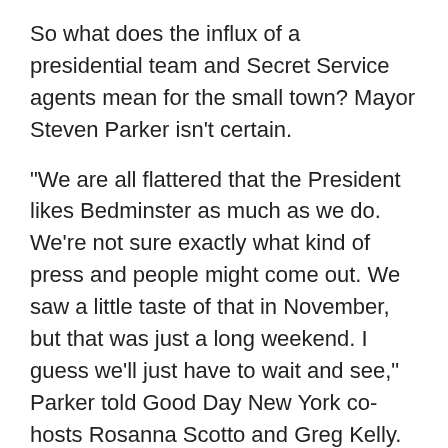So what does the influx of a presidential team and Secret Service agents mean for the small town? Mayor Steven Parker isn't certain.
"We are all flattered that the President likes Bedminster as much as we do. We're not sure exactly what kind of press and people might come out. We saw a little taste of that in November, but that was just a long weekend. I guess we'll just have to wait and see," Parker told Good Day New York co-hosts Rosanna Scotto and Greg Kelly.
Bedminster Police and the Somerset County Prosecutor's Office have been working with the Secret Service to secure the area.
"I think we're well prepared," said Parker.